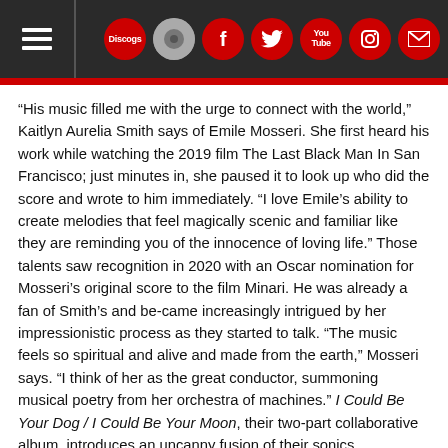Navigation header with hamburger menu and social icons (Discogs, Facebook, Twitter, YouTube, Instagram, Email)
“His music filled me with the urge to connect with the world,” Kaitlyn Aurelia Smith says of Emile Mosseri. She first heard his work while watching the 2019 film The Last Black Man In San Francisco; just minutes in, she paused it to look up who did the score and wrote to him immediately. “I love Emile’s ability to create melodies that feel magically scenic and familiar like they are reminding you of the innocence of loving life.” Those talents saw recognition in 2020 with an Oscar nomination for Mosseri’s original score to the film Minari. He was already a fan of Smith’s and be-came increasingly intrigued by her impressionistic process as they started to talk. “The music feels so spiritual and alive and made from the earth,” Mosseri says. “I think of her as the great conductor, summoning musical poetry from her orchestra of machines.” I Could Be Your Dog / I Could Be Your Moon, their two-part collaborative album, introduces an uncanny fusion of their sonics. Constructed using synthesizer, piano, electronics, and voice, this soft-focus dream world is lush, evocative, and fleeting. It finds two composers tuning their respective styles inward as an ode to mutual inspiration, a celebration of the human spirit and its will to surrender to the currents of life.